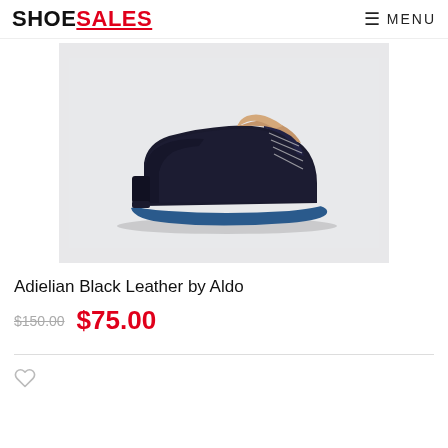SHOESALES  ☰ MENU
[Figure (photo): Dark navy/black suede oxford dress shoe by Aldo, shown in profile on a light grey background. The shoe has a cap toe, lace-up closure, tan leather interior lining, and a distinctive blue rubber sole with a thin white midsole stripe.]
Adielian Black Leather by Aldo
$150.00  $75.00